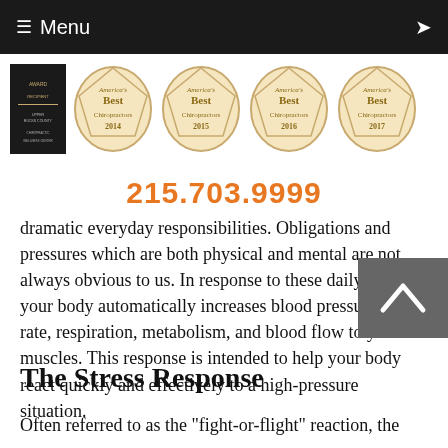Menu
[Figure (logo): Awards strip showing a plaque and four America's Best Chiropractors badges for 2014, 2015, 2016, and 2017]
215.703.9999
dramatic everyday responsibilities. Obligations and pressures which are both physical and mental are not always obvious to us. In response to these daily strains your body automatically increases blood pressure, heart rate, respiration, metabolism, and blood flow to your muscles. This response is intended to help your body react quickly and effectively to a high-pressure situation.
The Stress Response
Often referred to as the "fight-or-flight" reaction, the